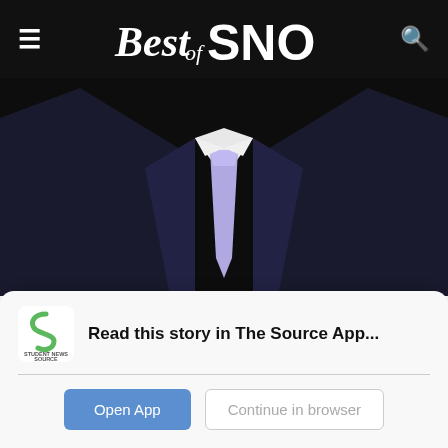Best of SNO
[Figure (photo): Person in dark suit with light purple/lavender tie, photo cropped at chest level, dark background]
Los Angeles Unified School District
On Feb. 14, Alberto Carvalho began his new job as superintendent of
[Figure (screenshot): App banner: Student News Source logo with text 'Read this story in The Source App...' and two buttons: 'Open App' and 'Continue in browser']